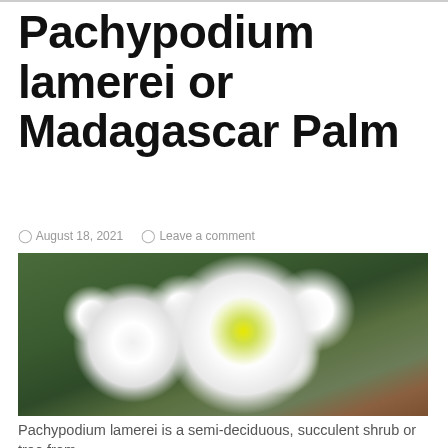Pachypodium lamerei or Madagascar Palm
August 18, 2021   Leave a comment
[Figure (photo): Close-up photo of white Pachypodium lamerei flowers with yellow-green centers, green leaves in background]
Pachypodium lamerei is a semi-deciduous, succulent shrub or tree from